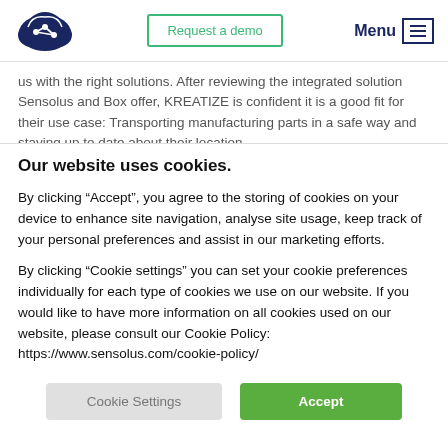Request a demo | Menu
us with the right solutions. After reviewing the integrated solution Sensolus and Box offer, KREATIZE is confident it is a good fit for their use case: Transporting manufacturing parts in a safe way and staying up to date about their location.
Our website uses cookies.
By clicking “Accept”, you agree to the storing of cookies on your device to enhance site navigation, analyse site usage, keep track of your personal preferences and assist in our marketing efforts.
By clicking “Cookie settings” you can set your cookie preferences individually for each type of cookies we use on our website. If you would like to have more information on all cookies used on our website, please consult our Cookie Policy: https://www.sensolus.com/cookie-policy/